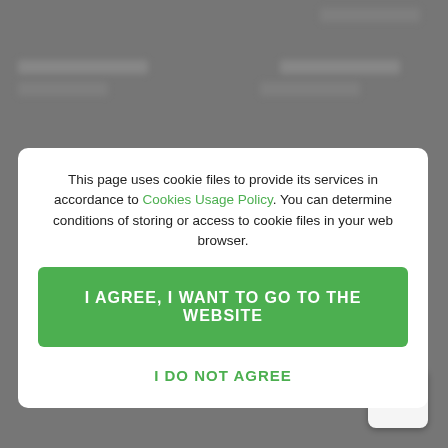[Figure (screenshot): Blurred website background with gray overlay and cookie consent modal dialog]
This page uses cookie files to provide its services in accordance to Cookies Usage Policy. You can determine conditions of storing or access to cookie files in your web browser.
I AGREE, I WANT TO GO TO THE WEBSITE
I DO NOT AGREE